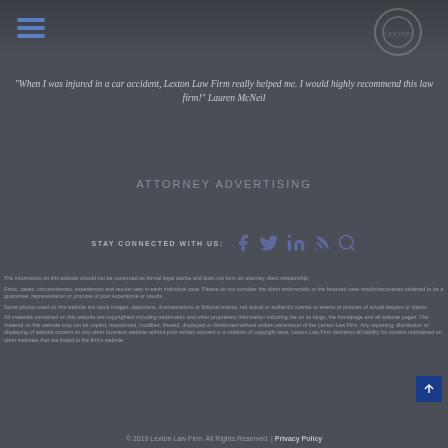[Figure (logo): Navigation header bar with hamburger menu icon and circular logo]
"When I was injured in a car accident, Lexton Law Firm really helped me. I would highly recommend this law firm!" Lauren McNeil
ATTORNEY ADVERTISING
STAY CONNECTED WITH US: [Facebook] [Twitter] [LinkedIn] [RSS] [Search]
The information on this website should not be construed as formal legal advice and does not form an attorney client relationship.
Facts, cases, circumstances, experiences and results vary in each individual case. Please do not consider the client testimonials or the featured case results/recoveries obtained to be a guarantee, representation or promise of your experience or results.
Some photos used on this website are stock images, depictions, dramatizations or fictional events, not actual or authentic scenes or events or pictures of actual lawyers or clients.
All materials contained on this website are copyrighted including trademarks and other proprietary information including the on its blogs, the homepage and all website pages. The material on this website may not be copied, reproduced, modified, framed, displayed or distributed without written permission of the Lexton Law Firm. Any reposting, distribution or displaying of website content on any other business website without prior written consent is a violation of copyright laws. Lexton Law Firm disclaims all liability for content maintained on other websites that are linked to the firm's website.
© 2019 Lexton Law Firm. All Rights Reserved. | Privacy Policy